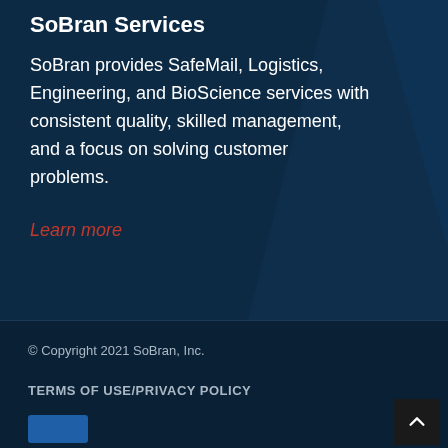SoBran Services
SoBran provides SafeMail, Logistics, Engineering, and BioScience services with consistent quality, skilled management, and a focus on solving customer problems.
Learn more
© Copyright 2021 SoBran, Inc.
TERMS OF USE/PRIVACY POLICY